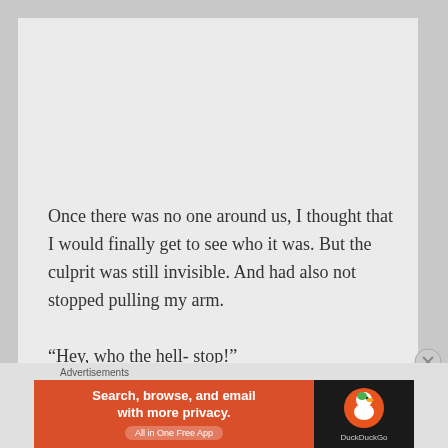Once there was no one around us, I thought that I would finally get to see who it was. But the culprit was still invisible. And had also not stopped pulling my arm.
“Hey, who the hell- stop!”
[Figure (other): DuckDuckGo advertisement banner: orange left panel with text 'Search, browse, and email with more privacy. All in One Free App' and dark right panel with DuckDuckGo duck logo and brand name.]